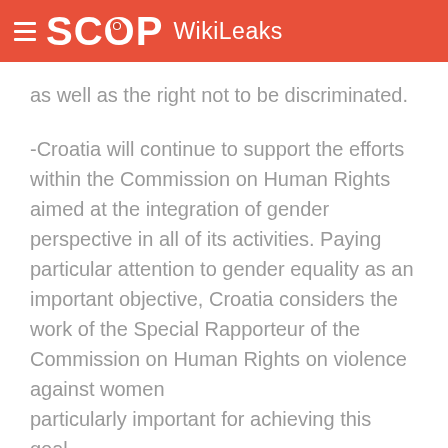SCOOP WikiLeaks
as well as the right not to be discriminated.
-Croatia will continue to support the efforts within the Commission on Human Rights aimed at the integration of gender perspective in all of its activities. Paying particular attention to gender equality as an important objective, Croatia considers the work of the Special Rapporteur of the Commission on Human Rights on violence against women particularly important for achieving this goal.